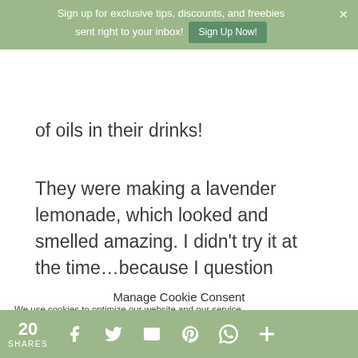Sign up for exclusive tips, discounts, and freebies sent right to your inbox! Sign Up Now!
of oils in their drinks!
They were making a lavender lemonade, which looked and smelled amazing. I didn't try it at the time…because I question everything. But, after researching essential oils and whether they are safe
Manage Cookie Consent
We use cookies to optimize our website and our service.
20 SHARES